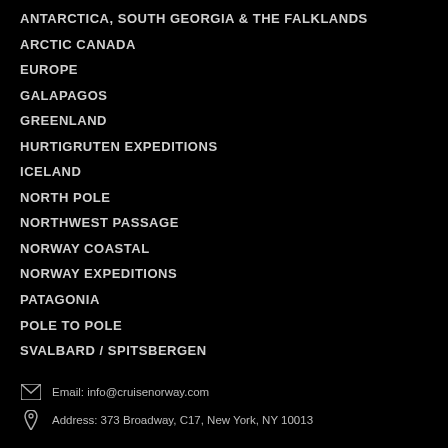ANTARCTICA, SOUTH GEORGIA & THE FALKLANDS
ARCTIC CANADA
EUROPE
GALAPAGOS
GREENLAND
HURTIGRUTEN EXPEDITIONS
ICELAND
NORTH POLE
NORTHWEST PASSAGE
NORWAY COASTAL
NORWAY EXPEDITIONS
PATAGONIA
POLE TO POLE
SVALBARD / SPITSBERGEN
Email: info@cruisenorway.com
Address: 373 Broadway, C17, New York, NY 10013